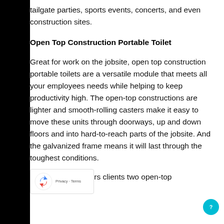tailgate parties, sports events, concerts, and even construction sites.
Open Top Construction Portable Toilet
Great for work on the jobsite, open top construction portable toilets are a versatile module that meets all your employees needs while helping to keep productivity high. The open-top constructions are lighter and smooth-rolling casters make it easy to move these units through doorways, up and down floors and into hard-to-reach parts of the jobsite. And the galvanized frame means it will last through the toughest conditions.
arwood Waste offers clients two open-top